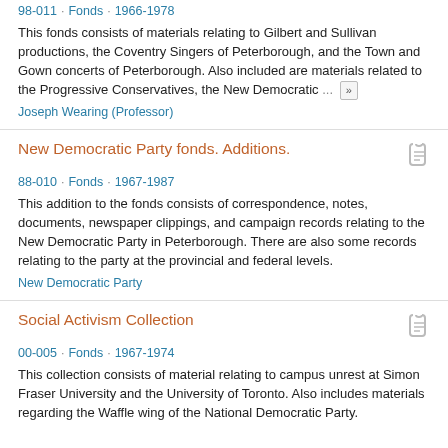98-011 · Fonds · 1966-1978
This fonds consists of materials relating to Gilbert and Sullivan productions, the Coventry Singers of Peterborough, and the Town and Gown concerts of Peterborough. Also included are materials related to the Progressive Conservatives, the New Democratic ... »
Joseph Wearing (Professor)
New Democratic Party fonds. Additions.
88-010 · Fonds · 1967-1987
This addition to the fonds consists of correspondence, notes, documents, newspaper clippings, and campaign records relating to the New Democratic Party in Peterborough. There are also some records relating to the party at the provincial and federal levels.
New Democratic Party
Social Activism Collection
00-005 · Fonds · 1967-1974
This collection consists of material relating to campus unrest at Simon Fraser University and the University of Toronto. Also includes materials regarding the Waffle wing of the National Democratic Party.